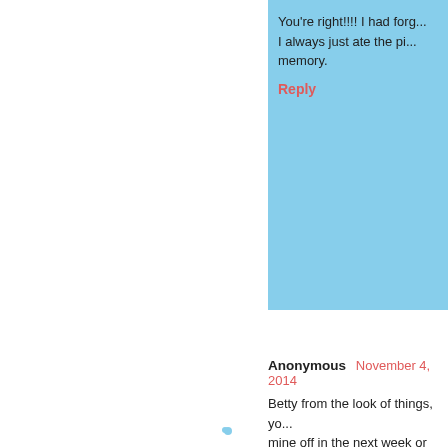You're right!!!! I had forg... I always just ate the pi... memory.
Reply
Anonymous  November 4, 2014
Betty from the look of things, yo... mine off in the next week or two...
Blessings to All,
Anna (Toronto)
Reply
Anonymous  November 4, 2014
Those scones look fabulous! M... says that makes all the differend... Angharad